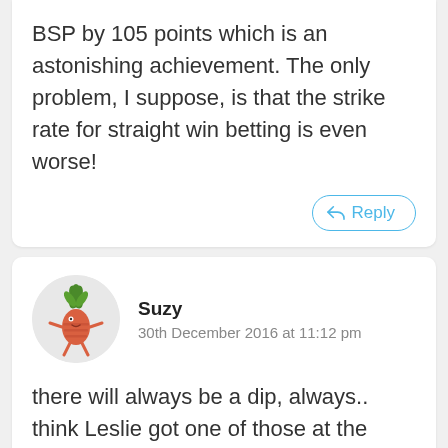BSP by 105 points which is an astonishing achievement. The only problem, I suppose, is that the strike rate for straight win betting is even worse!
Reply
Suzy
30th December 2016 at 11:12 pm
there will always be a dip, always.. think Leslie got one of those at the beginning, however nothing can defy